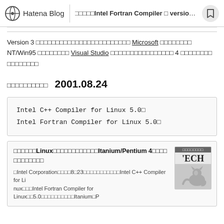Hatena Blog | □□□□□Intel Fortran Compiler □ version...
Version 3 □□□□□□□□□□□□□□□□□□□□□□□ Microsoft □□□□□□□□ NT/Win95 □□□□□□□□ Visual Studio □□□□□□□□□□□□□□□□ 4 □□□□□□□□ □□□□□□□□
□□□□□□□□□□  2001.08.24
Intel C++ Compiler for Linux 5.0□
Intel Fortran Compiler for Linux 5.0□
□□□□□□Linux□□□□□□□□□□□□Itanium/Pentium 4□□□□ □□□□□□□□
□Intel Corporation□□□□8□23□□□□□□□□□□□Intel C++ Compiler for Linux□□□Intel Fortran Compiler for Linux□□5.0□□□□□□□□□□Itanium□P